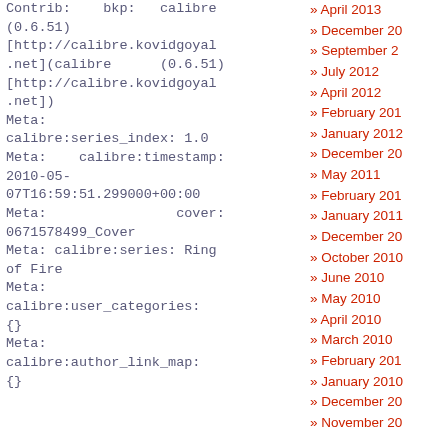Contrib:    bkp:   calibre (0.6.51) [http://calibre.kovidgoyal.net](calibre      (0.6.51) [http://calibre.kovidgoyal.net])
Meta: calibre:series_index: 1.0
Meta:    calibre:timestamp: 2010-05-07T16:59:51.299000+00:00
Meta:                cover: 0671578499_Cover
Meta: calibre:series: Ring of Fire
Meta: calibre:user_categories: {}
Meta: calibre:author_link_map: {}
April 2013
December 20
September 2
July 2012
April 2012
February 201
January 2012
December 20
May 2011
February 201
January 2011
December 20
October 2010
June 2010
May 2010
April 2010
March 2010
February 201
January 2010
December 20
November 20